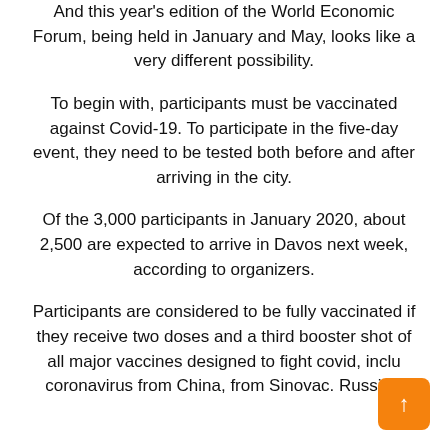And this year's edition of the World Economic Forum, being held in January and May, looks like a very different possibility.
To begin with, participants must be vaccinated against Covid-19. To participate in the five-day event, they need to be tested both before and after arriving in the city.
Of the 3,000 participants in January 2020, about 2,500 are expected to arrive in Davos next week, according to organizers.
Participants are considered to be fully vaccinated if they receive two doses and a third booster shot of all major vaccines designed to fight covid, inclu coronavirus from China, from Sinovac. Russia's